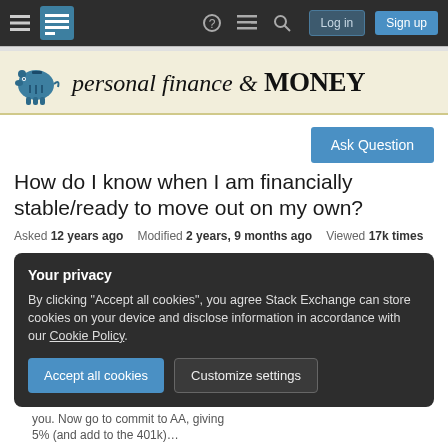[Figure (screenshot): Stack Exchange navigation bar with hamburger menu, logo icon, help/chat/search icons, Log in and Sign up buttons on dark background]
[Figure (logo): Personal Finance & Money Stack Exchange banner with piggy bank icon and italic/serif title text]
Ask Question
How do I know when I am financially stable/ready to move out on my own?
Asked 12 years ago   Modified 2 years, 9 months ago   Viewed 17k times
Your privacy
By clicking "Accept all cookies", you agree Stack Exchange can store cookies on your device and disclose information in accordance with our Cookie Policy.
Accept all cookies   Customize settings